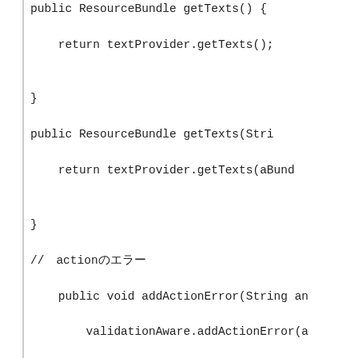public ResourceBundle getTexts() {
    return textProvider.getTexts();
}
public ResourceBundle getTexts(Stri...
    return textProvider.getTexts(aBund...
}
// actionのエラー
    public void addActionError(String an...
        validationAware.addActionError(a...
    }
// actionのメッセージ
    public void addActionMessage(String...